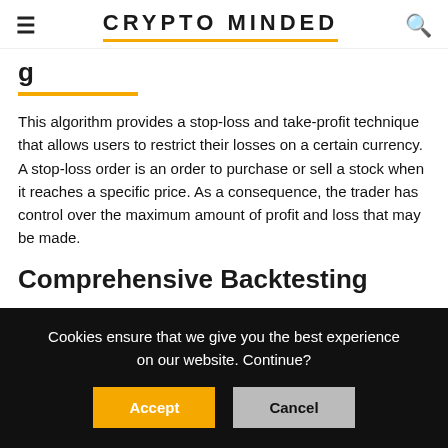CRYPTO MINDED
g...
This algorithm provides a stop-loss and take-profit technique that allows users to restrict their losses on a certain currency. A stop-loss order is an order to purchase or sell a stock when it reaches a specific price. As a consequence, the trader has control over the maximum amount of profit and loss that may be made.
Comprehensive Backtesting
Cookies ensure that we give you the best experience on our website. Continue?